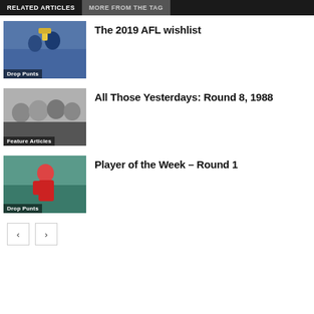RELATED ARTICLES | MORE FROM THE TAG
[Figure (photo): AFL players celebrating with trophy, West Coast Eagles colors]
Drop Punts
The 2019 AFL wishlist
[Figure (photo): Black and white photo of AFL players smiling]
Feature Articles
All Those Yesterdays: Round 8, 1988
[Figure (photo): AFL player in red jersey, action shot]
Drop Punts
Player of the Week – Round 1